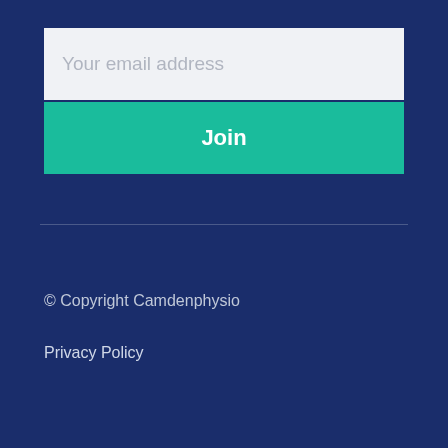Your email address
Join
© Copyright Camdenphysio
Privacy Policy